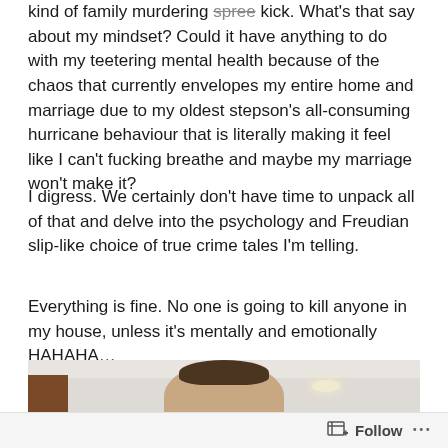kind of family murdering spree kick. What's that say about my mindset? Could it have anything to do with my teetering mental health because of the chaos that currently envelopes my entire home and marriage due to my oldest stepson's all-consuming hurricane behaviour that is literally making it feel like I can't fucking breathe and maybe my marriage won't make it?
I digress. We certainly don't have time to unpack all of that and delve into the psychology and Freudian slip-like choice of true crime tales I'm telling.
Everything is fine. No one is going to kill anyone in my house, unless it's mentally and emotionally HAHAHA…
[Figure (photo): Partial photo of a woman with dark hair in a bun, inside a room with white walls and ceiling. A wooden door frame is visible on the left, and a recessed ceiling light is visible on the right.]
Follow ···